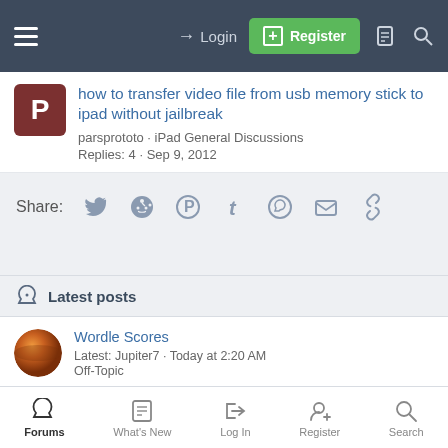Login  Register
how to transfer video file from usb memory stick to ipad without jailbreak
parsprototo · iPad General Discussions
Replies: 4 · Sep 9, 2012
Share:
Latest posts
Wordle Scores
Latest: Jupiter7 · Today at 2:20 AM
Off-Topic
Laugh Of The Day
Latest: scifan57 · Today at 1:51 AM
Forums  What's New  Log In  Register  Search